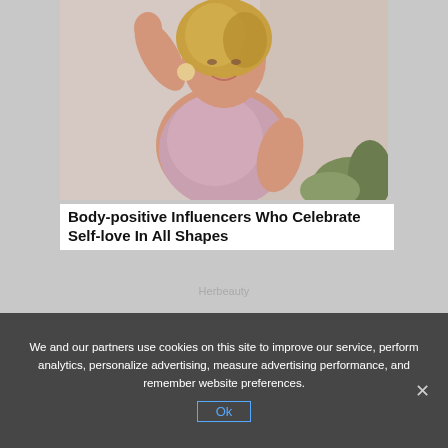[Figure (photo): A plus-size woman with blonde highlighted hair posing with one arm raised, wearing a shimmery pink sleeveless top, with hoop earrings, against a neutral background with some greenery.]
Body-positive Influencers Who Celebrate Self-love In All Shapes
Herbeauty
We and our partners use cookies on this site to improve our service, perform analytics, personalize advertising, measure advertising performance, and remember website preferences.
Ok